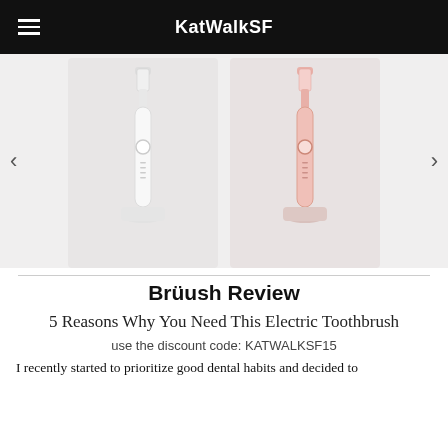KatWalkSF
[Figure (photo): Carousel showing two electric toothbrushes on white charging bases: one white and one pink, on a light grey background, with left and right navigation arrows.]
Brüush Review
5 Reasons Why You Need This Electric Toothbrush
use the discount code: KATWALKSF15
I recently started to prioritize good dental habits and decided to